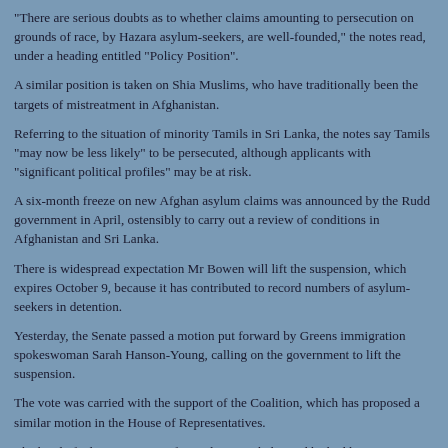“There are serious doubts as to whether claims amounting to persecution on grounds of race, by Hazara asylum-seekers, are well-founded,” the notes read, under a heading entitled “Policy Position”.
A similar position is taken on Shia Muslims, who have traditionally been the targets of mistreatment in Afghanistan.
Referring to the situation of minority Tamils in Sri Lanka, the notes say Tamils “may now be less likely” to be persecuted, although applicants with “significant political profiles” may be at risk.
A six-month freeze on new Afghan asylum claims was announced by the Rudd government in April, ostensibly to carry out a review of conditions in Afghanistan and Sri Lanka.
There is widespread expectation Mr Bowen will lift the suspension, which expires October 9, because it has contributed to record numbers of asylum-seekers in detention.
Yesterday, the Senate passed a motion put forward by Greens immigration spokeswoman Sarah Hanson-Young, calling on the government to lift the suspension.
The vote was carried with the support of the Coalition, which has proposed a similar motion in the House of Representatives.
The head of a large migration firm, Florin Burhala, said he had been contact